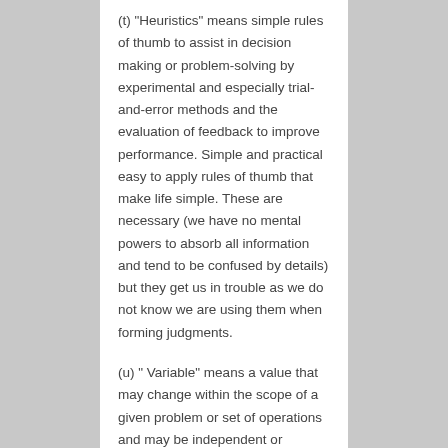(t) "Heuristics" means simple rules of thumb to assist in decision making or problem-solving by experimental and especially trial-and-error methods and the evaluation of feedback to improve performance. Simple and practical easy to apply rules of thumb that make life simple. These are necessary (we have no mental powers to absorb all information and tend to be confused by details) but they get us in trouble as we do not know we are using them when forming judgments.
(u) " Variable" means a value that may change within the scope of a given problem or set of operations and may be independent or dependent.
(v) "Cherry picking" means pointing to individual cases or data that seem to